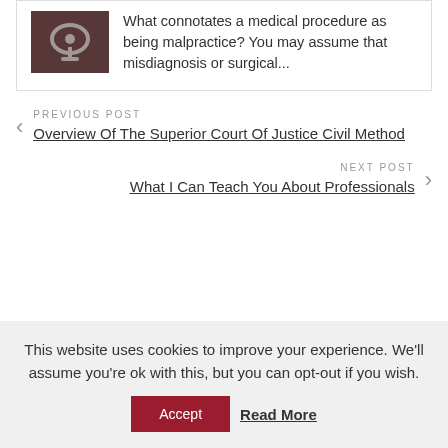[Figure (photo): Stethoscope on dark background, medical themed image]
What connotates a medical procedure as being malpractice? You may assume that misdiagnosis or surgical...
PREVIOUS POST
Overview Of The Superior Court Of Justice Civil Method
NEXT POST
What I Can Teach You About Professionals
This website uses cookies to improve your experience. We'll assume you're ok with this, but you can opt-out if you wish.
Accept
Read More